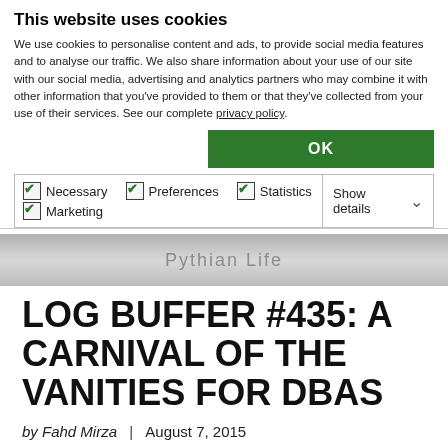This website uses cookies
We use cookies to personalise content and ads, to provide social media features and to analyse our traffic. We also share information about your use of our site with our social media, advertising and analytics partners who may combine it with other information that you've provided to them or that they've collected from your use of their services. See our complete privacy policy.
[Figure (screenshot): OK button (green) and cookie consent checkboxes for Necessary, Preferences, Statistics, Marketing with Show details dropdown]
[Figure (screenshot): Gray banner with 'Pythian Life' watermark text]
LOG BUFFER #435: A CARNIVAL OF THE VANITIES FOR DBAS
by Fahd Mirza  |  August 7, 2015